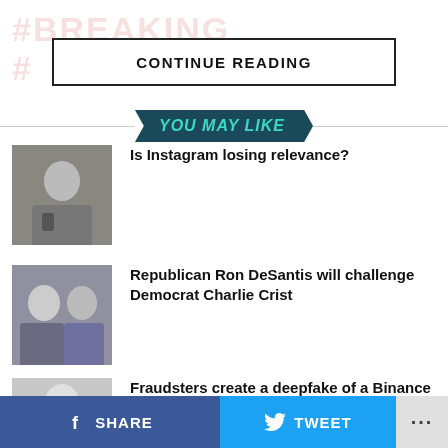#BREAKING
CONTINUE READING
YOU MAY LIKE
[Figure (photo): Man in suit at hearing, Zuckerberg-like figure]
Is Instagram losing relevance?
[Figure (photo): Two men side by side, political figures Charlie Crist and Ron DeSantis]
Republican Ron DeSantis will challenge Democrat Charlie Crist
[Figure (photo): Man in suit, Binance executive]
Fraudsters create a deepfake of a Binance executive to con crypto developers
SHARE   TWEET